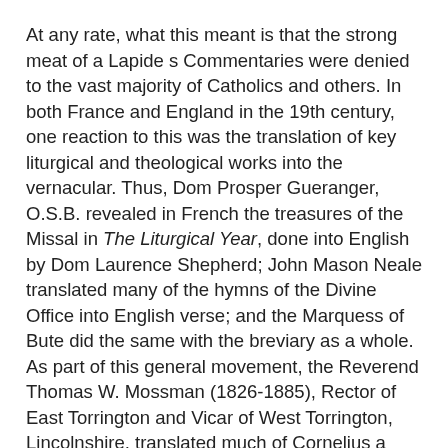At any rate, what this meant is that the strong meat of a Lapide’s Commentaries were denied to the vast majority of Catholics and others. In both France and England in the 19th century, one reaction to this was the translation of key liturgical and theological works into the vernacular. Thus, Dom Prosper Gueranger, O.S.B. revealed in French the treasures of the Missal in The Liturgical Year, done into English by Dom Laurence Shepherd; John Mason Neale translated many of the hymns of the Divine Office into English verse; and the Marquess of Bute did the same with the breviary as a whole. As part of this general movement, the Reverend Thomas W. Mossman (1826-1885), Rector of East Torrington and Vicar of West Torrington, Lincolnshire, translated much of Cornelius a Lapide’s commentaries into English. His translation was the basis for that of the four gospels which you see before you.
At this point, the Catholic reader might fear either that the Reverend Mossman might have left something out, or perhaps mistranslated the text. Well, he did in fact leave out about a